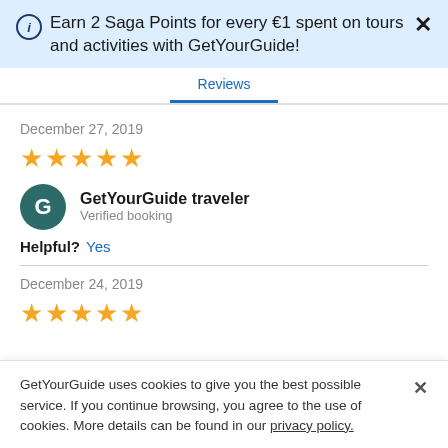Earn 2 Saga Points for every €1 spent on tours and activities with GetYourGuide!
December 27, 2019
[Figure (other): 4 yellow stars rating]
GetYourGuide traveler
Verified booking
Helpful? Yes
December 24, 2019
[Figure (other): 4 yellow stars rating]
GetYourGuide uses cookies to give you the best possible service. If you continue browsing, you agree to the use of cookies. More details can be found in our privacy policy.